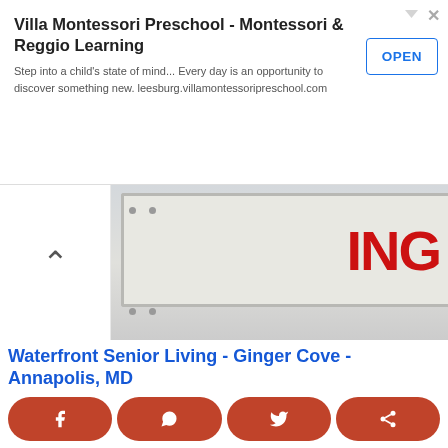[Figure (screenshot): Advertisement banner for Villa Montessori Preschool with OPEN button]
Villa Montessori Preschool - Montessori & Reggio Learning
Step into a child's state of mind... Every day is an opportunity to discover something new. leesburg.villamontessoripreschool.com
[Figure (photo): Photo showing a sign with partial red text 'ING' visible, white painted metal surface]
Waterfront Senior Living - Ginger Cove - Annapolis, MD
Ad gingercove.com
[Figure (other): Bottom share bar with Facebook, WhatsApp, Twitter, and share buttons]